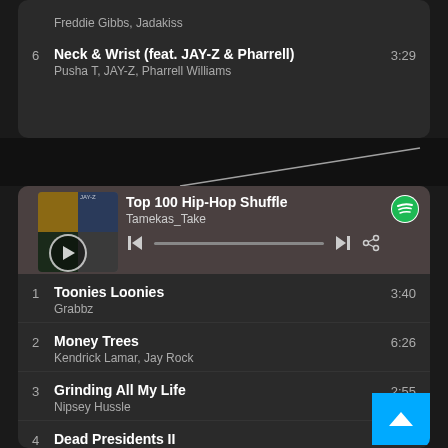Freddie Gibbs, Jadakiss
6  Neck & Wrist (feat. JAY-Z & Pharrell)  3:29
Pusha T, JAY-Z, Pharrell Williams
[Figure (screenshot): Spotify-style music player widget showing playlist 'Top 100 Hip-Hop Shuffle' by Tamekas_Take with album art collage, play button, progress bar, skip and share controls, and Spotify logo]
1  Toonies Loonies  3:40
Grabbz
2  Money Trees  6:26
Kendrick Lamar, Jay Rock
3  Grinding All My Life  2:55
Nipsey Hussle
4  Dead Presidents II  4:...
JAY-Z
5  High All The Time  4:29